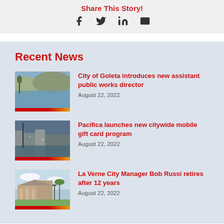Share This Story!
[Figure (infographic): Social sharing icons: Facebook, Twitter, LinkedIn, Email]
Recent News
[Figure (photo): Photo of a lake with reflections, mountainous background]
City of Goleta introduces new assistant public works director
August 22, 2022
[Figure (photo): Photo of a marina or waterfront area at dusk]
Pacifica launches new citywide mobile gift card program
August 22, 2022
[Figure (photo): Photo of a civic building with palm trees]
La Verne City Manager Bob Russi retires after 12 years
August 22, 2022